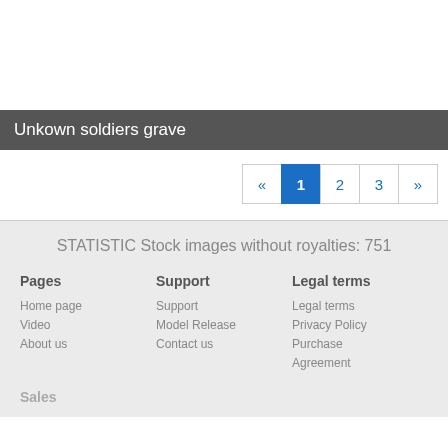Unkown soldiers grave
« 1 2 3 »
STATISTIC Stock images without royalties: 751
Pages
Home page
Video
About us
Support
Support
Model Release
Contact us
Legal terms
Legal terms
Privacy Policy
Purchase
Agreement
Sales